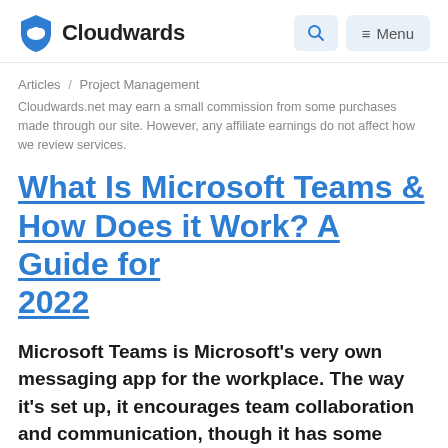Cloudwards
Articles / Project Management
Cloudwards.net may earn a small commission from some purchases made through our site. However, any affiliate earnings do not affect how we review services.
What Is Microsoft Teams & How Does it Work? A Guide for 2022
Microsoft Teams is Microsoft's very own messaging app for the workplace. The way it's set up, it encourages team collaboration and communication, though it has some